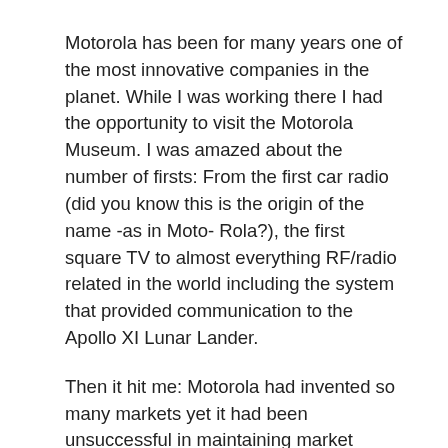Motorola has been for many years one of the most innovative companies in the planet. While I was working there I had the opportunity to visit the Motorola Museum. I was amazed about the number of firsts: From the first car radio (did you know this is the origin of the name -as in Moto- Rola?), the first square TV to almost everything RF/radio related in the world including the system that provided communication to the Apollo XI Lunar Lander.
Then it hit me: Motorola had invented so many markets yet it had been unsuccessful in maintaining market leadership. The company invented the cell phone and by then it had secondary market positions both on the cell phone business as in the infrastructure side. The answer, for me, was the company culture.
And to me the fact Motorola had so many...